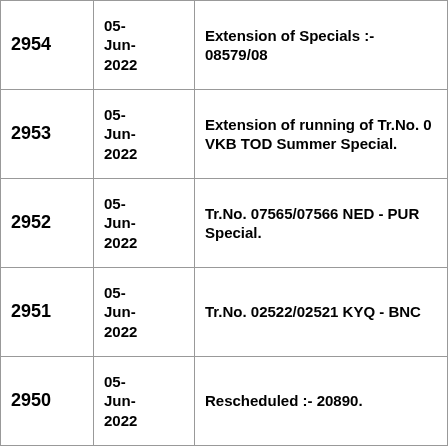| No. | Date | Description |
| --- | --- | --- |
| 2954 | 05-Jun-2022 | Extension of Specials :- 08579/08... |
| 2953 | 05-Jun-2022 | Extension of running of Tr.No. 0... VKB TOD Summer Special. |
| 2952 | 05-Jun-2022 | Tr.No. 07565/07566 NED - PUR... Special. |
| 2951 | 05-Jun-2022 | Tr.No. 02522/02521 KYQ - BNC... |
| 2950 | 05-Jun-2022 | Rescheduled :- 20890. |